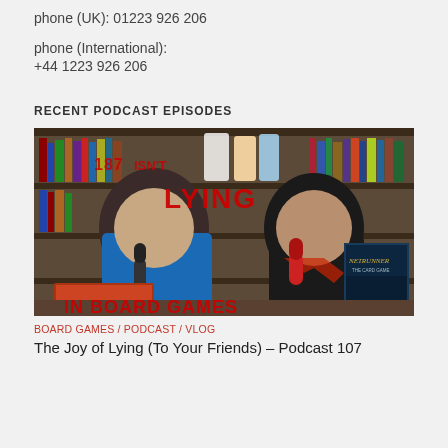phone (UK): 01223 926 206
phone (International):
+44 1223 926 206
RECENT PODCAST EPISODES
[Figure (photo): Two men sitting at a table with board games and microphones in front of bookshelves. Text overlay reads 'The Joy of Lying' in red letters. A Netrunner board game box is visible on the right.]
BOARD GAMES / PODCAST / VLOG
The Joy of Lying (To Your Friends) – Podcast 107